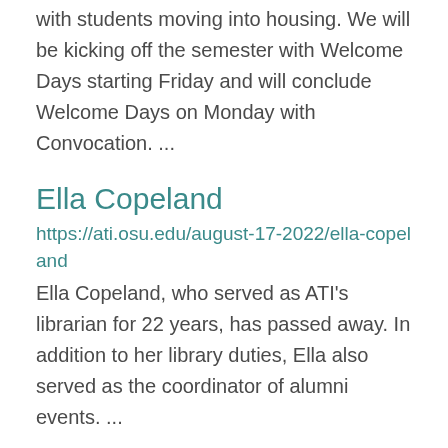with students moving into housing. We will be kicking off the semester with Welcome Days starting Friday and will conclude Welcome Days on Monday with Convocation. ...
Ella Copeland
https://ati.osu.edu/august-17-2022/ella-copeland
Ella Copeland, who served as ATI's librarian for 22 years, has passed away. In addition to her library duties, Ella also served as the coordinator of alumni events.  ...
Library Resources for Instructors